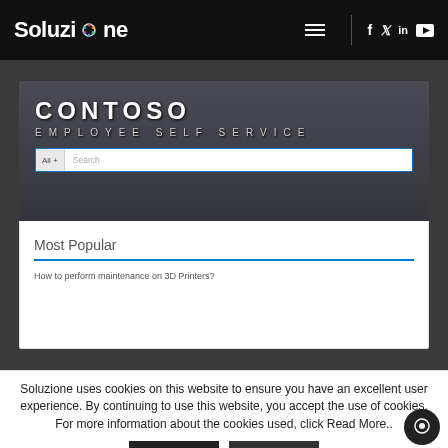Soluzione — navigation bar with logo, hamburger menu, social icons (f, twitter, in, youtube)
[Figure (screenshot): Screenshot of Contoso Employee Self Service portal showing the header with 'CONTOSO EMPLOYEE SELF SERVICE' text, a search bar with 'All+' and 'Search' placeholder, and a 'Most Popular' section with a blue underline and a link 'How to perform maintenance on 3D Printers?']
Soluzione uses cookies on this website to ensure you have an excellent user experience. By continuing to use this website, you accept the use of cookies. For more information about the cookies used, click Read More..
ACCEPT
Read More